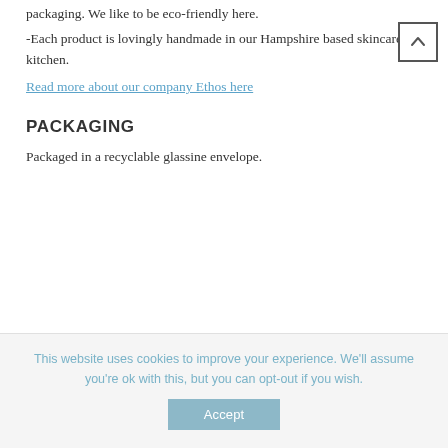packaging. We like to be eco-friendly here.
-Each product is lovingly handmade in our Hampshire based skincare kitchen.
Read more about our company Ethos here
PACKAGING
Packaged in a recyclable glassine envelope.
This website uses cookies to improve your experience. We'll assume you're ok with this, but you can opt-out if you wish.